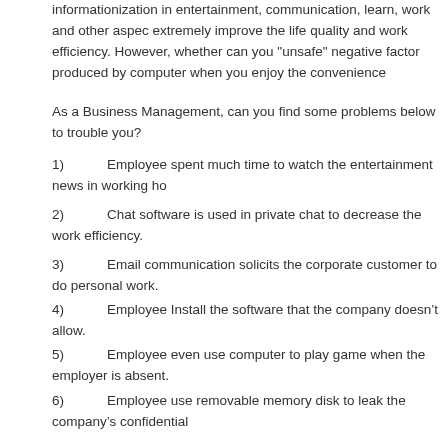informationization in entertainment, communication, learn, work and other aspects extremely improve the life quality and work efficiency. However, whether can you "unsafe" negative factor produced by computer when you enjoy the convenience
As a Business Management, can you find some problems below to trouble you?
1) Employee spent much time to watch the entertainment news in working ho
2) Chat software is used in private chat to decrease the work efficiency.
3) Email communication solicits the corporate customer to do personal work.
4) Employee Install the software that the company doesn’t allow.
5) Employee even use computer to play game when the employer is absent.
6) Employee use removable memory disk to leak the company’s confidential
Abundance resource are wasted and work efficiency was badly affected.
Imonitor EAM is a professional network monitoring software, which is widely used middle-size, and big company. This software has a powerful function and is easy The